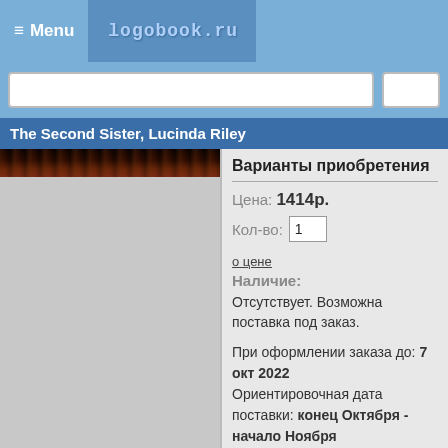≡ Menu  logobook.ru
The Second Sister, Lucinda Riley
[Figure (photo): Book cover photo strip at top, mostly dark/black with reddish-brown tones]
Варианты приобретения
Цена: 1414р.
Кол-во: 1
о цене
Наличие:
Отсутствует. Возможна поставка под заказ.
При оформлении заказа до: 7 окт 2022
Ориентировочная дата поставки: конец Октября - начало Ноября